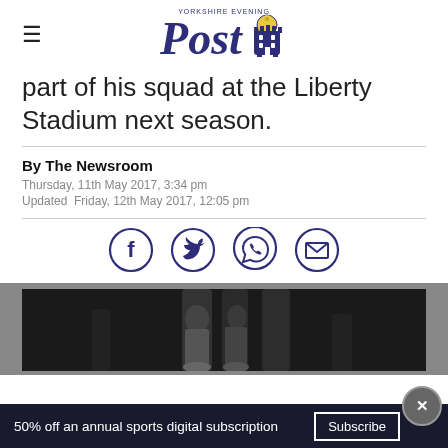Yorkshire Evening Post
part of his squad at the Liberty Stadium next season.
By The Newsroom
Thursday, 11th May 2017, 3:34 pm
Updated Friday, 12th May 2017, 12:05 pm
[Figure (illustration): Social media sharing icons: Facebook, Twitter, WhatsApp, Email]
[Figure (photo): Partial photo of a person, visible from lower torso down, on dark background]
50% off an annual sports digital subscription